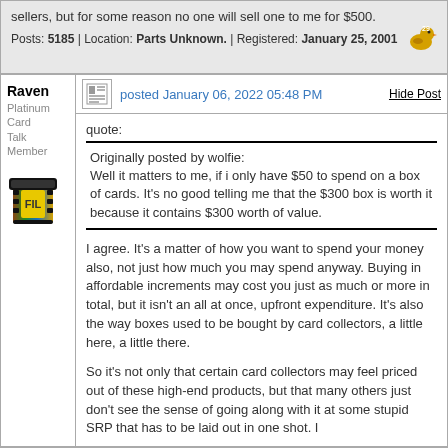sellers, but for some reason no one will sell one to me for $500.
Posts: 5185 | Location: Parts Unknown. | Registered: January 25, 2001
Raven
Platinum Card Talk Member
posted January 06, 2022 05:48 PM
Hide Post
quote:
Originally posted by wolfie:
Well it matters to me, if i only have $50 to spend on a box of cards. It's no good telling me that the $300 box is worth it because it contains $300 worth of value.
I agree. It's a matter of how you want to spend your money also, not just how much you may spend anyway. Buying in affordable increments may cost you just as much or more in total, but it isn't an all at once, upfront expenditure. It's also the way boxes used to be bought by card collectors, a little here, a little there.
So it's not only that certain card collectors may feel priced out of these high-end products, but that many others just don't see the sense of going along with it at some stupid SRP that has to be laid out in one shot. I